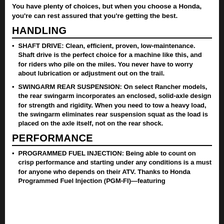You have plenty of choices, but when you choose a Honda, you're can rest assured that you're getting the best.
HANDLING
SHAFT DRIVE: Clean, efficient, proven, low-maintenance. Shaft drive is the perfect choice for a machine like this, and for riders who pile on the miles. You never have to worry about lubrication or adjustment out on the trail.
SWINGARM REAR SUSPENSION: On select Rancher models, the rear swingarm incorporates an enclosed, solid-axle design for strength and rigidity. When you need to tow a heavy load, the swingarm eliminates rear suspension squat as the load is placed on the axle itself, not on the rear shock.
PERFORMANCE
PROGRAMMED FUEL INJECTION: Being able to count on crisp performance and starting under any conditions is a must for anyone who depends on their ATV. Thanks to Honda Programmed Fuel Injection (PGM-FI)—featuring